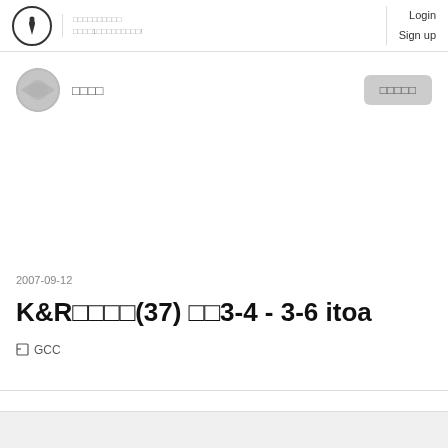Login  Sign up
□□□□
□□□□□
2007-09-12
K&R□□□□(37) □□3-4 - 3-6 itoa
GCC